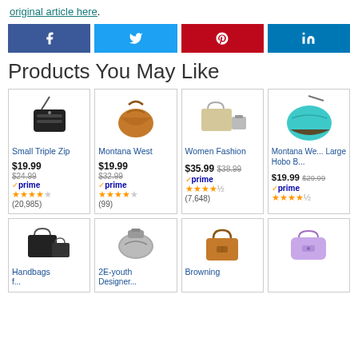original article here.
[Figure (infographic): Social share buttons: Facebook, Twitter, Pinterest, LinkedIn]
Products You May Like
[Figure (infographic): Product card: Small Triple Zip handbag, $19.99, was $24.99, prime, 4.5 stars, (20,985) reviews]
[Figure (infographic): Product card: Montana West handbag, $19.99, was $32.99, prime, 4.5 stars, (99) reviews]
[Figure (infographic): Product card: Women Fashion bag, $35.99, was $38.99, prime, 4.5 stars, (7,648) reviews]
[Figure (infographic): Product card: Montana West Large Hobo bag, $19.99, was $29.99, prime, 4.5 stars, partial]
[Figure (infographic): Product card row 2: Handbags (partial)]
[Figure (infographic): Product card row 2: 2E-youth Designer (partial)]
[Figure (infographic): Product card row 2: Browning (partial)]
[Figure (infographic): Product card row 2: fourth item partial (lavender bag)]